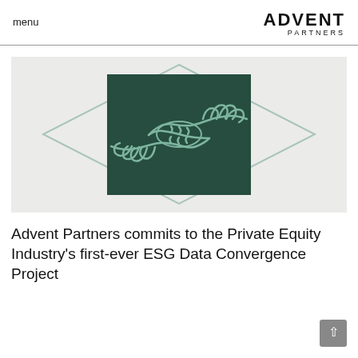menu
[Figure (illustration): Illustration of two hands shaking in a handshake, rendered as a line drawing in light green/teal color on a dark green rectangular background, with a large diamond/rhombus outline surrounding the rectangle, all on a light grey background.]
Advent Partners commits to the Private Equity Industry's first-ever ESG Data Convergence Project